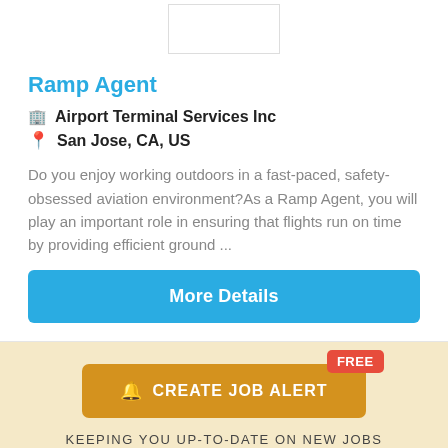[Figure (other): Company logo placeholder box]
Ramp Agent
🏢 Airport Terminal Services Inc
📍 San Jose, CA, US
Do you enjoy working outdoors in a fast-paced, safety-obsessed aviation environment?As a Ramp Agent, you will play an important role in ensuring that flights run on time by providing efficient ground ...
More Details
FREE
🔔 CREATE JOB ALERT
KEEPING YOU UP-TO-DATE ON NEW JOBS